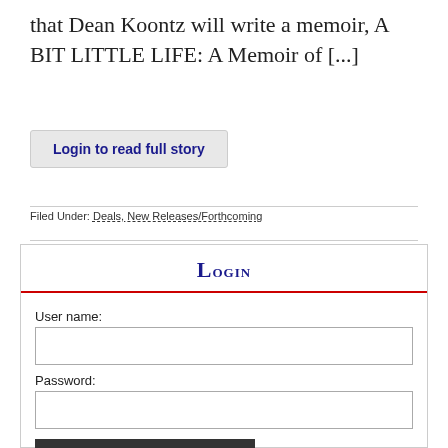that Dean Koontz will write a memoir, A BIT LITTLE LIFE: A Memoir of [...]
Login to read full story
Filed Under: Deals, New Releases/Forthcoming
Login
User name:
Password:
Login
Forgot password